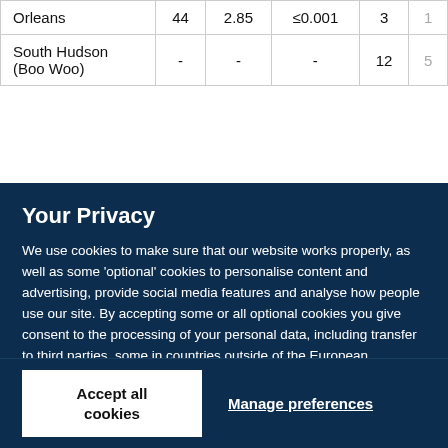| Orleans | 44 | 2.85 | ≤0.001 | 3 | 1 |
| South Hudson (Boo Woo) | - | - | - | 12 | 5 |
Your Privacy
We use cookies to make sure that our website works properly, as well as some 'optional' cookies to personalise content and advertising, provide social media features and analyse how people use our site. By accepting some or all optional cookies you give consent to the processing of your personal data, including transfer to third parties, some in countries outside of the European Economic Area that do not offer the same data protection standards as the country where you live. You can decide which optional cookies to accept by clicking on 'Manage Settings', where you can also find more information about how your personal data is processed. Further information can be found in our privacy policy.
Accept all cookies
Manage preferences